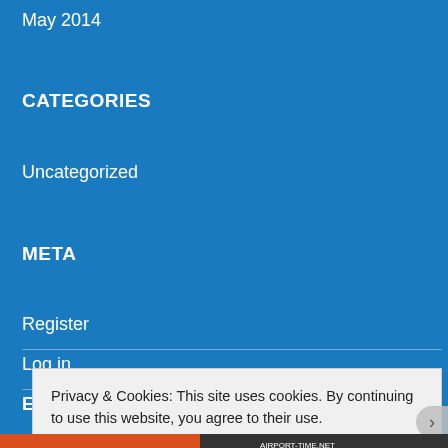May 2014
CATEGORIES
Uncategorized
META
Register
Log in
Privacy & Cookies: This site uses cookies. By continuing to use this website, you agree to their use.
To find out more, including how to control cookies, see here: Cookie Policy
Close and accept